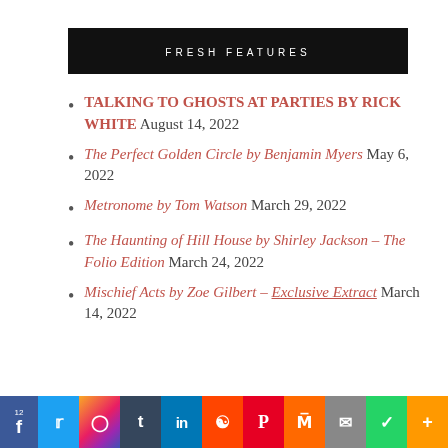FRESH FEATURES
TALKING TO GHOSTS AT PARTIES BY RICK WHITE August 14, 2022
The Perfect Golden Circle by Benjamin Myers May 6, 2022
Metronome by Tom Watson March 29, 2022
The Haunting of Hill House by Shirley Jackson – The Folio Edition March 24, 2022
Mischief Acts by Zoe Gilbert – Exclusive Extract March 14, 2022